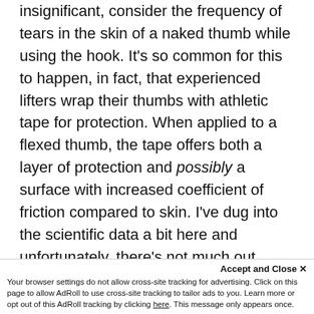insignificant, consider the frequency of tears in the skin of a naked thumb while using the hook. It's so common for this to happen, in fact, that experienced lifters wrap their thumbs with athletic tape for protection. When applied to a flexed thumb, the tape offers both a layer of protection and possibly a surface with increased coefficient of friction compared to skin. I've dug into the scientific data a bit here and unfortunately, there's not much out there on experimentally derived coefficients of friction for athletic tape.
As an aside, friction is the resistance to sliding
Accept and Close ×
Your browser settings do not allow cross-site tracking for advertising. Click on this page to allow AdRoll to use cross-site tracking to tailor ads to you. Learn more or opt out of this AdRoll tracking by clicking here. This message only appears once.
and coefficient of friction (CoF) is the ratio